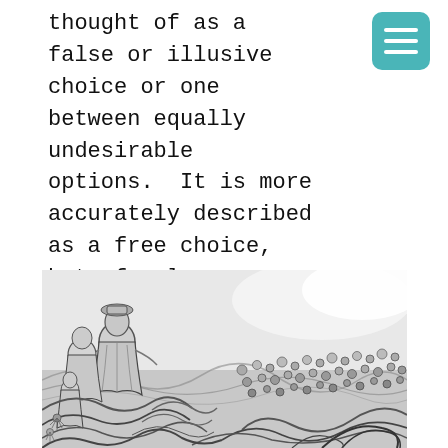thought of as a false or illusive choice or one between equally undesirable options.  It is more accurately described as a free choice, but of only one option i.e. between something or nothing, taking the choice or not.
[Figure (illustration): Black and white ink illustration showing a crowd of people with swirling, dynamic brushwork suggesting movement and chaos. Figures in robes or historical clothing are visible in the foreground among the crowd.]